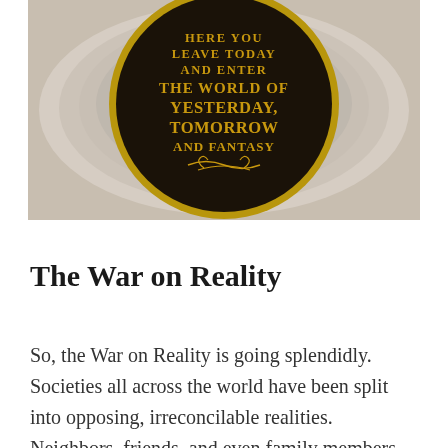[Figure (photo): A circular black and gold medallion/plaque reading 'HERE YOU LEAVE TODAY AND ENTER THE WORLD OF YESTERDAY, TOMORROW AND FANTASY', set against a cream/beige architectural arch background — the entrance plaque to Disneyland.]
The War on Reality
So, the War on Reality is going splendidly. Societies all across the world have been split into opposing, irreconcilable realities. Neighbors, friends, and even family members